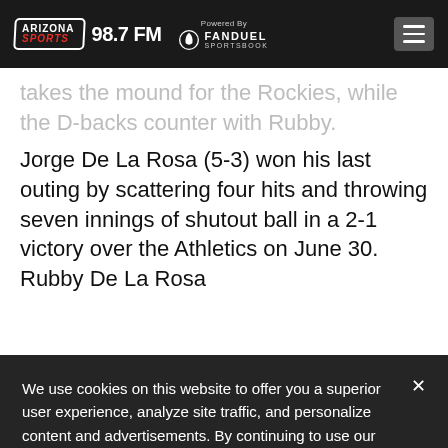[Figure (logo): Arizona Sports 98.7 FM logo and FanDuel Sportsbook powered-by badge on dark header bar with hamburger menu]
takes the mound for the Rockies, while the D-backs counter with Rubby.
Jorge De La Rosa (5-3) won his last outing by scattering four hits and throwing seven innings of shutout ball in a 2-1 victory over the Athletics on June 30. Rubby De La Rosa
We use cookies on this website to offer you a superior user experience, analyze site traffic, and personalize content and advertisements. By continuing to use our site, you consent to our use of cookies. Please visit our Privacy Policy for more information.
Accept Cookies